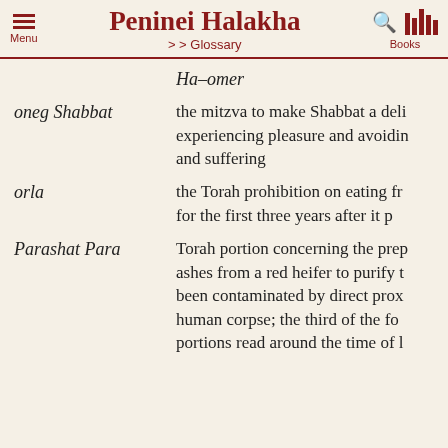Peninei Halakha >> Glossary
Ha-omer
oneg Shabbat – the mitzva to make Shabbat a delight by experiencing pleasure and avoiding pain and suffering
orla – the Torah prohibition on eating fruit for the first three years after it p[lanted]
Parashat Para – Torah portion concerning the prep[aration of] ashes from a red heifer to purify t[hose who have] been contaminated by direct prox[imity to a] human corpse; the third of the fo[ur special] portions read around the time of [Purim/Passover]